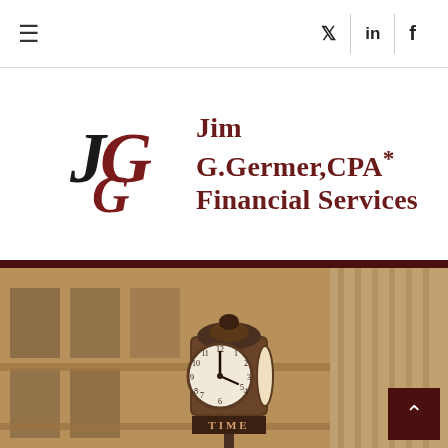Navigation bar with hamburger menu and social icons (Twitter, LinkedIn, Facebook)
[Figure (logo): JGG monogram logo in black and dark red]
Jim G.Germer,CPA* Financial Services
[Figure (photo): Sepia-toned photograph of a city street with a large ornate clock on a pole labeled TIME, with a tall building facade in the background]